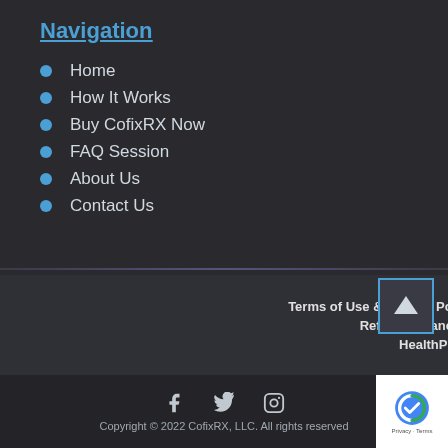Navigation
Home
How It Works
Buy CofixRX Now
FAQ Session
About Us
Contact Us
Terms of Use & Privacy Policy   Shipping Policy   Refund & Cancellation Policy   HealthPro Portal
Copyright © 2022 CofixRX, LLC. All rights reserved